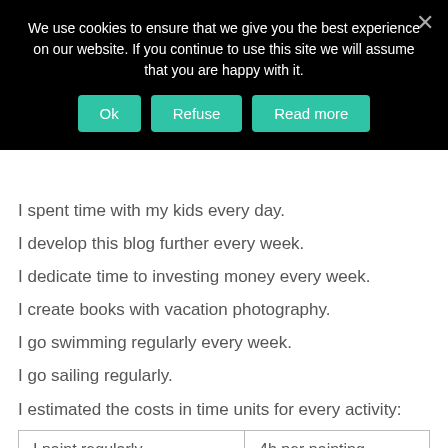[Figure (screenshot): Cookie consent banner with black background, text about cookies, and three teal buttons: Ok, Refuse, Read more. An X close button is in the top right.]
I spent time with my kids every day.
I develop this blog further every week.
I dedicate time to investing money every week.
I create books with vacation photography.
I go swimming regularly every week.
I go sailing regularly.
I estimated the costs in time units for every activity:
| Activity | Time |
| --- | --- |
| I paint regularly. | 4h per painting |
| I learn new things about | 1h/week |